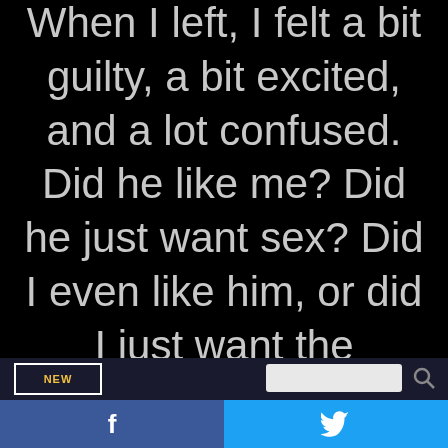When I left, I felt a bit guilty, a bit excited, and a lot confused. Did he like me? Did he just want sex? Did I even like him, or did I just want the flirtation of
[Figure (screenshot): Navigation bar with logo and search box on dark background]
[Figure (infographic): Social share bar with Facebook (blue) and Twitter (light blue) buttons]